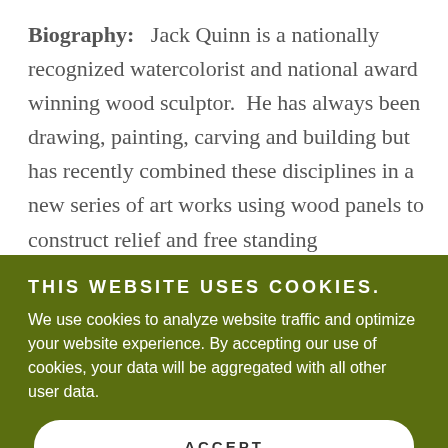Biography:   Jack Quinn is a nationally recognized watercolorist and national award winning wood sculptor.  He has always been drawing, painting, carving and building but has recently combined these disciplines in a new series of art works using wood panels to construct relief and free standing
THIS WEBSITE USES COOKIES.
We use cookies to analyze website traffic and optimize your website experience. By accepting our use of cookies, your data will be aggregated with all other user data.
ACCEPT